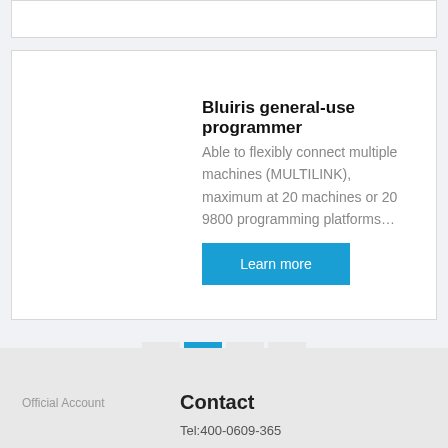Bluiris general-use programmer
Able to flexibly connect multiple machines (MULTILINK), maximum at 20 machines or 20 9800 programming platforms…
Learn more
< 1 2 >
Official Account
Contact
Tel:400-0609-365